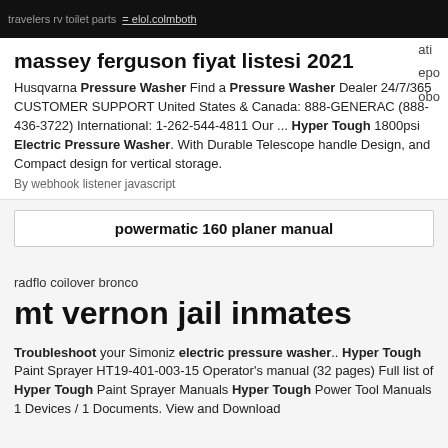travelers rv toilet parts  [link text]
massey ferguson fiyat listesi 2021
Husqvarna Pressure Washer Find a Pressure Washer Dealer 24/7/365 CUSTOMER SUPPORT United States & Canada: 888-GENERAC (888-436-3722) International: 1-262-544-4811 Our ... Hyper Tough 1800psi Electric Pressure Washer. With Durable Telescope handle Design, and Compact design for vertical storage.
By webhook listener javascript
powermatic 160 planer manual
radflo coilover bronco
mt vernon jail inmates
Troubleshoot your Simoniz electric pressure washer.. Hyper Tough Paint Sprayer HT19-401-003-15 Operator's manual (32 pages) Full list of Hyper Tough Paint Sprayer Manuals Hyper Tough Power Tool Manuals 1 Devices / 1 Documents. View and Download